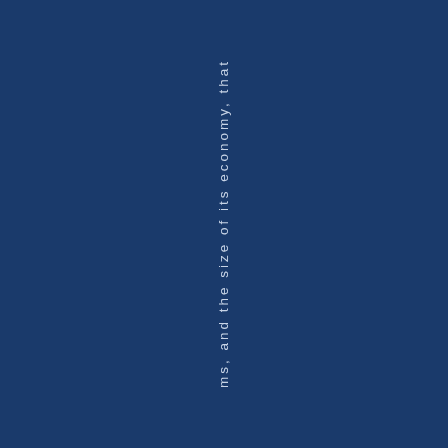ms, and the size of its economy, that